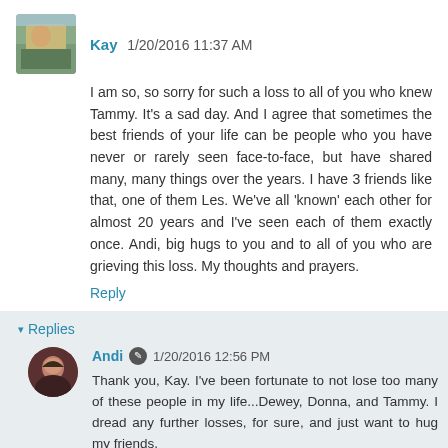[Figure (photo): Avatar photo of Kay, outdoor scene with person]
Kay 1/20/2016 11:37 AM
I am so, so sorry for such a loss to all of you who knew Tammy. It's a sad day. And I agree that sometimes the best friends of your life can be people who you have never or rarely seen face-to-face, but have shared many, many things over the years. I have 3 friends like that, one of them Les. We've all 'known' each other for almost 20 years and I've seen each of them exactly once. Andi, big hugs to you and to all of you who are grieving this loss. My thoughts and prayers.
Reply
▾ Replies
[Figure (photo): Avatar photo of Andi, woman with dark hair]
Andi 🖊 1/20/2016 12:56 PM
Thank you, Kay. I've been fortunate to not lose too many of these people in my life...Dewey, Donna, and Tammy. I dread any further losses, for sure, and just want to hug my friends.